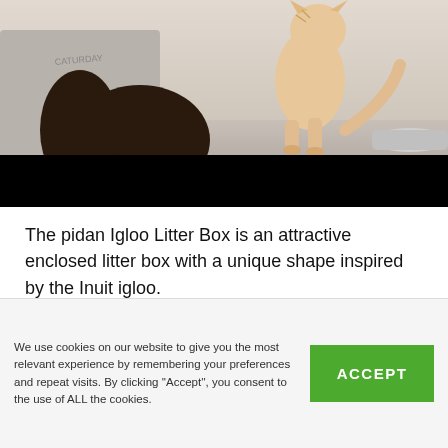[Figure (photo): Photo of a woman with long dark hair and an orange/cream tabby cat standing on a surface. A gray bag with 'CATURDAY' text is visible in the background. The bottom portion of the image is covered by a solid black bar.]
The pidan Igloo Litter Box is an attractive enclosed litter box with a unique shape inspired by the Inuit igloo.
Its pure, minimalist design is both attractive and
We use cookies on our website to give you the most relevant experience by remembering your preferences and repeat visits. By clicking ''Accept'', you consent to the use of ALL the cookies.